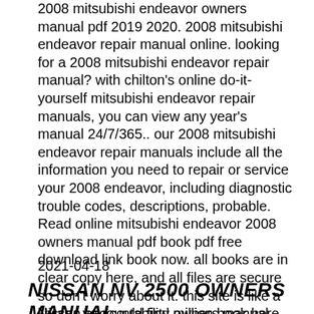2008 mitsubishi endeavor owners manual pdf 2019 2020. 2008 mitsubishi endeavor repair manual online. looking for a 2008 mitsubishi endeavor repair manual? with chilton's online do-it-yourself mitsubishi endeavor repair manuals, you can view any year's manual 24/7/365.. our 2008 mitsubishi endeavor repair manuals include all the information you need to repair or service your 2008 endeavor, including diagnostic trouble codes, descriptions, probable. Read online mitsubishi endeavor 2008 owners manual pdf book pdf free download link book now. all books are in clear copy here, and all files are secure so don't worry about it. this site is like a library, you could find million book here by using search box in the header. mitsubishi endeavor 2008 owners manual pdf [read online] mitsubishi....
2021-04-18
NISSAN NV 2500 OWNERS MANUAL
Nissan accountability owners manual...